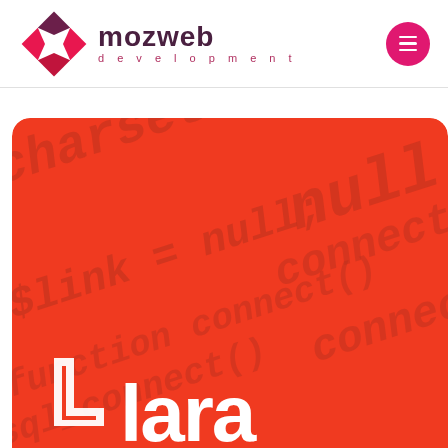[Figure (logo): Mozweb Development logo with diamond-shaped icon in pink/red and dark purple text reading 'mozweb' with 'development' in spaced letters below, and a pink circular hamburger menu button on the right]
[Figure (photo): Red/orange background image with blurred white italic code text including 'charset', 'null;', '$link = null;', 'connect()', 'sql_connect()', 'function connect()' and a white Laravel logo mark at the bottom with partial text 'lara']